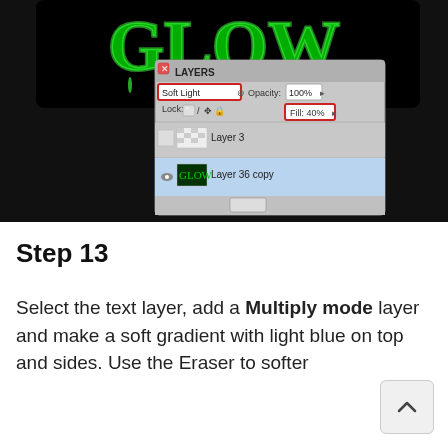[Figure (screenshot): Photoshop tutorial screenshot showing a green glowing text effect 'GLOW' on black background, with a Layers panel open showing Soft Light blend mode, Opacity 100%, Fill 40%, with Layer 3 and Layer 36 copy visible. The Layer 36 copy row is highlighted in blue and is selected.]
Step 13
Select the text layer, add a Multiply mode layer and make a soft gradient with light blue on top and sides. Use the Eraser to softer